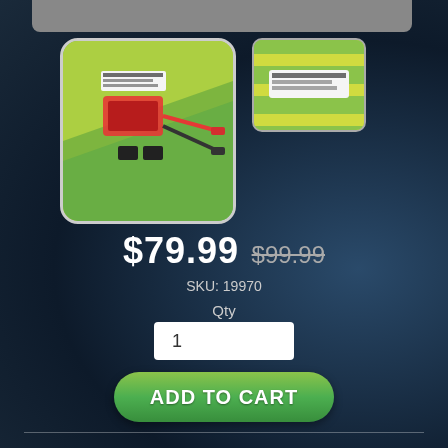[Figure (photo): Product thumbnail (main) - electronic component/regulator with wires on green background]
[Figure (photo): Product thumbnail (small) - electronic component on green/yellow striped background]
$79.99 $99.99
SKU: 19970
Qty
1
ADD TO CART
SHARE:
Share
Tweet
Pin it
+1